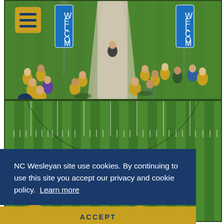[Figure (photo): Aerial view of a welcome event at NC Wesleyan University with people in yellow shirts lining a walkway on green grass, with blue and white 'Welcome' banners on either side. A hamburger/menu icon button in gold is visible in the top left corner.]
[Figure (photo): Aerial view of a football field with white yard lines, tick marks, and a large circular arc marking visible on the green striped turf. Partially obscured by cookie consent banner.]
NC Wesleyan site use cookies. By continuing to use this site you accept our privacy and cookie policy.  Learn more
ACCEPT